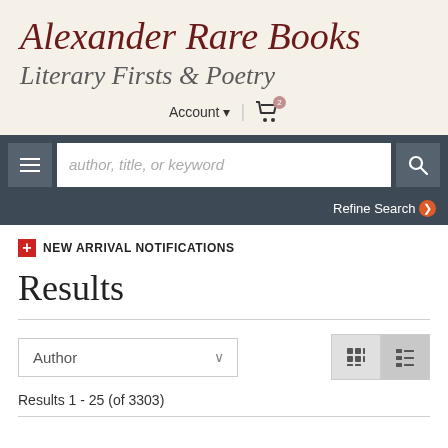Alexander Rare Books Literary Firsts & Poetry
Account ▼  |  🛒
author, title, or keyword
Refine Search ❯
+ NEW ARRIVAL NOTIFICATIONS
Results
Author ∨
Results 1 - 25 (of 3303)